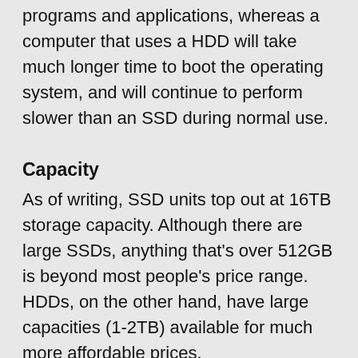programs and applications, whereas a computer that uses a HDD will take much longer time to boot the operating system, and will continue to perform slower than an SSD during normal use.
Capacity
As of writing, SSD units top out at 16TB storage capacity. Although there are large SSDs, anything that’s over 512GB is beyond most people’s price range. HDDs, on the other hand, have large capacities (1-2TB) available for much more affordable prices.
Durability
HDDs consist of various moving parts and